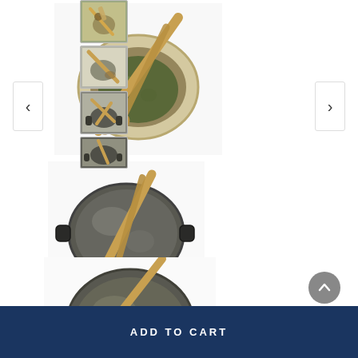[Figure (photo): Thumbnail strip of product photos - wooden spoons/utensils with bowls and pots]
[Figure (photo): Wooden spoon in a ceramic bowl with green herb contents, viewed from above]
[Figure (photo): Wooden salad servers resting on a dark steel pot with handles, viewed from above]
[Figure (photo): Wooden spatula/fork resting on a dark steel pot with handles, viewed from above, partially cropped]
ADD TO CART